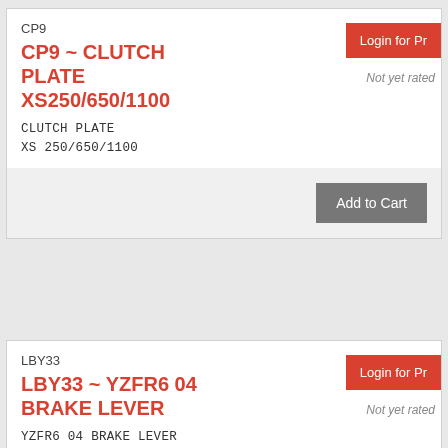CP9
CP9 ~ CLUTCH PLATE XS250/650/1100
Login for Pr
Not yet rated
CLUTCH PLATE XS250/650/1100
Add to Cart
LBY33
LBY33 ~ YZFR6 04 BRAKE LEVER
Login for Pr
Not yet rated
YZFR6 04 BRAKE LEVER
5VS-83922-00 04 Silver